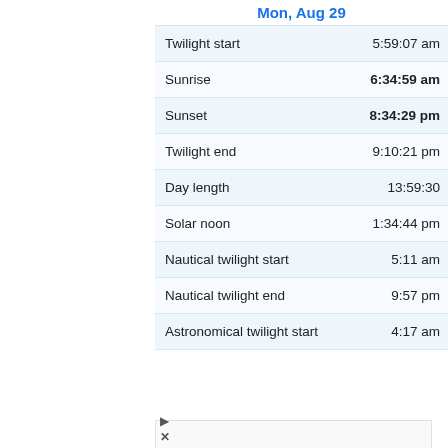| Mon, Aug 29 |  |
| --- | --- |
| Twilight start | 5:59:07 am |
| Sunrise | 6:34:59 am |
| Sunset | 8:34:29 pm |
| Twilight end | 9:10:21 pm |
| Day length | 13:59:30 |
| Solar noon | 1:34:44 pm |
| Nautical twilight start | 5:11 am |
| Nautical twilight end | 9:57 pm |
| Astronomical twilight start | 4:17 am |
[Figure (other): Lidl advertisement banner showing Lidl logo, text 'Lidl Groceries Are Low-Priced', Lidl brand name, and a blue navigation arrow icon.]